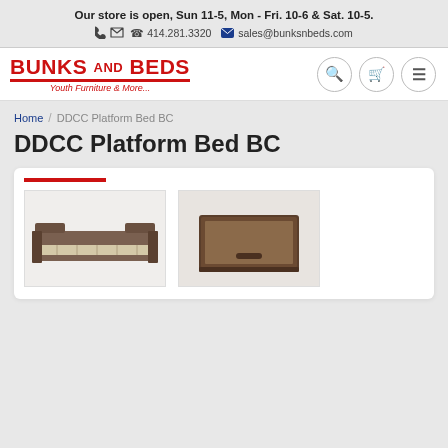Our store is open, Sun 11-5, Mon - Fri. 10-6 & Sat. 10-5.
414.281.3320   sales@bunksnbeds.com
[Figure (logo): Bunks and Beds logo with text 'Youth Furniture & More...']
Home / DDCC Platform Bed BC
DDCC Platform Bed BC
[Figure (photo): Two thumbnail images of the DDCC Platform Bed BC product — one showing a side/angled view of the bed frame, one showing a drawer detail]